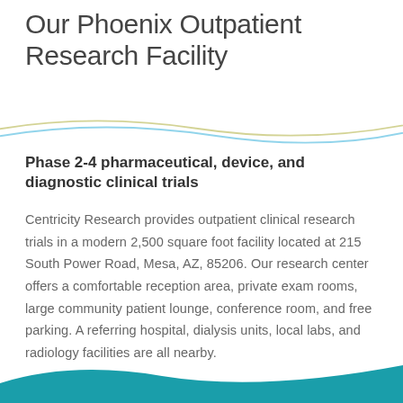Our Phoenix Outpatient Research Facility
[Figure (illustration): Two decorative curved wave lines (light yellow and light blue) serving as a divider between the title and body content]
Phase 2-4 pharmaceutical, device, and diagnostic clinical trials
Centricity Research provides outpatient clinical research trials in a modern 2,500 square foot facility located at 215 South Power Road, Mesa, AZ, 85206. Our research center offers a comfortable reception area, private exam rooms, large community patient lounge, conference room, and free parking. A referring hospital, dialysis units, local labs, and radiology facilities are all nearby.
[Figure (illustration): Teal/dark cyan decorative curved wave shape at the bottom of the page]